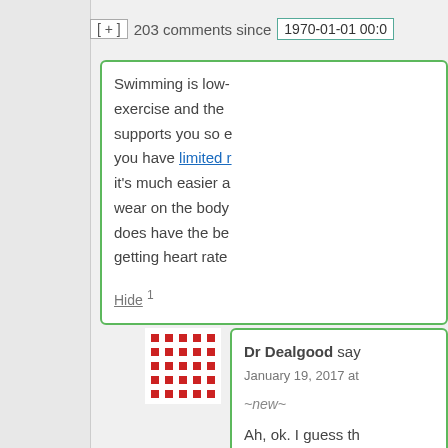[ + ]  203 comments since  1970-01-01 00:0
Swimming is low- exercise and the supports you so e you have limited r it's much easier a wear on the body does have the be getting heart rate
Hide 1
Dr Dealgood says:
January 19, 2017 at
~new~
Ah, ok. I guess th sense.
Carry on then.